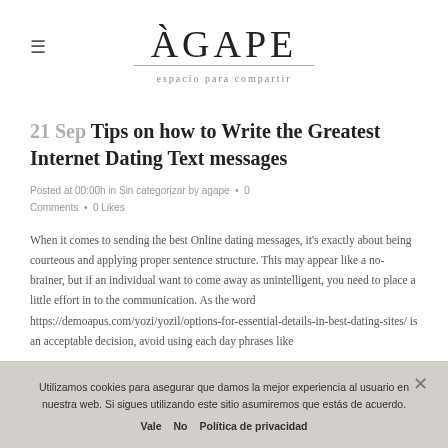ÀGAPE espacio para compartir
21 Sep Tips on how to Write the Greatest Internet Dating Text messages
Posted at 00:00h in Sin categorizar by agape • 0 Comments • 0 Likes
When it comes to sending the best Online dating messages, it's exactly about being courteous and applying proper sentence structure. This may appear like a no-brainer, but if an individual want to come away as unintelligent, you need to place a little effort in to the communication. As the word https://demoapus.com/yozi/yozil/options-for-essential-details-in-best-dating-sites/ is an acceptable decision, avoid using each day phrases like